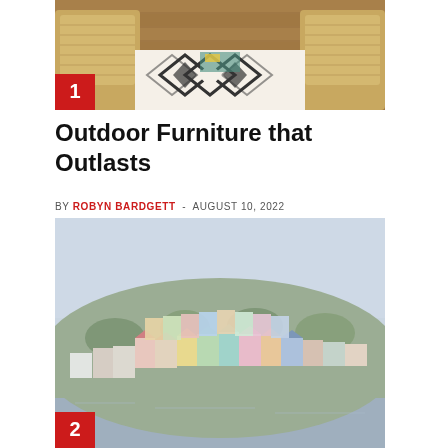[Figure (photo): Outdoor wicker furniture with a black and white geometric patterned rug on a wooden deck, with a badge labeled '1' in the bottom-left corner]
Outdoor Furniture that Outlasts
BY ROBYN BARDGETT - AUGUST 10, 2022
[Figure (photo): Colorful pastel houses on a hillside viewed from the water, hazy atmosphere, with a badge labeled '2' in the bottom-left corner]